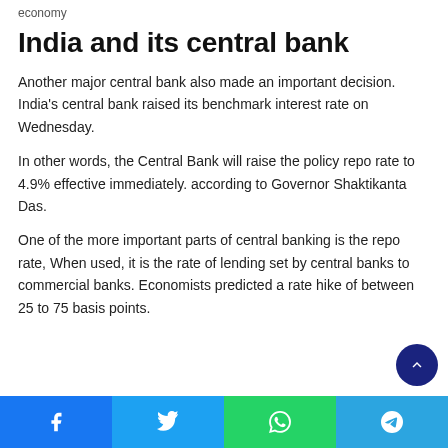economy
India and its central bank
Another major central bank also made an important decision. India's central bank raised its benchmark interest rate on Wednesday.
In other words, the Central Bank will raise the policy repo rate to 4.9% effective immediately. according to Governor Shaktikanta Das.
One of the more important parts of central banking is the repo rate, When used, it is the rate of lending set by central banks to commercial banks. Economists predicted a rate hike of between 25 to 75 basis points.
Social share bar: Facebook, Twitter, WhatsApp, Telegram